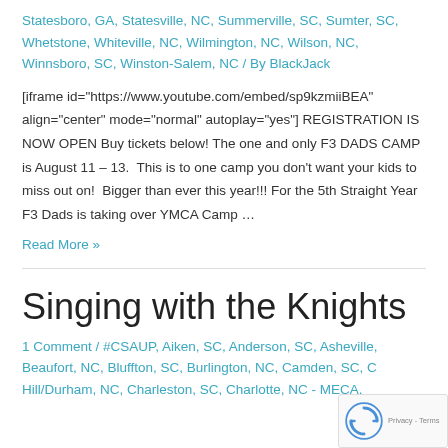Statesboro, GA, Statesville, NC, Summerville, SC, Sumter, SC, Whetstone, Whiteville, NC, Wilmington, NC, Wilson, NC, Winnsboro, SC, Winston-Salem, NC / By BlackJack
[iframe id="https://www.youtube.com/embed/sp9kzmiiBEA" align="center" mode="normal" autoplay="yes"] REGISTRATION IS NOW OPEN Buy tickets below! The one and only F3 DADS CAMP is August 11 – 13. This is to one camp you don't want your kids to miss out on! Bigger than ever this year!!! For the 5th Straight Year F3 Dads is taking over YMCA Camp …
Read More »
Singing with the Knights
1 Comment / #CSAUP, Aiken, SC, Anderson, SC, Asheville, Beaufort, NC, Bluffton, SC, Burlington, NC, Camden, SC, Chapel Hill/Durham, NC, Charleston, SC, Charlotte, NC - MECA,